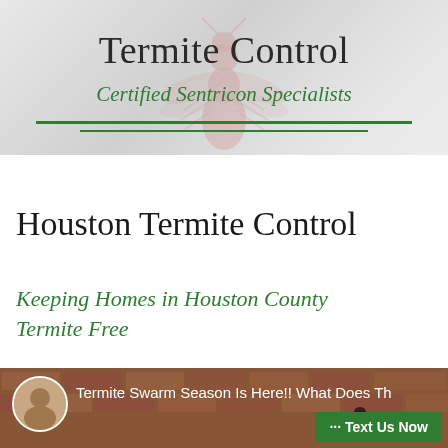[Figure (illustration): Hero banner with light gray gradient background and faint pink termite silhouette watermark]
Termite Control
Certified Sentricon Specialists
Houston Termite Control
Keeping Homes in Houston County Termite Free
[Figure (screenshot): Video thumbnail showing brick wall background with termite graphic, profile circle photo, text 'Termite Swarm Season Is Here!! What Does Th...' and a green 'Text Us Now' button]